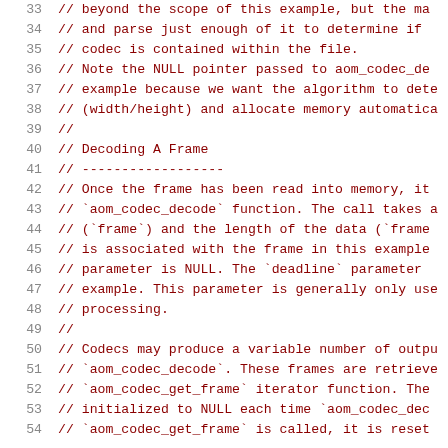Code listing lines 33-54, source code comments for AOM codec decoder example
33  // beyond the scope of this example, but the ma
34  // and parse just enough of it to determine if
35  // codec is contained within the file.
36  // Note the NULL pointer passed to aom_codec_de
37  // example because we want the algorithm to det
38  // (width/height) and allocate memory automatica
39  //
40  // Decoding A Frame
41  // ------------------
42  // Once the frame has been read into memory, it
43  // `aom_codec_decode` function. The call takes a
44  // (`frame`) and the length of the data (`frame
45  // is associated with the frame in this example
46  // parameter is NULL. The `deadline` parameter
47  // example. This parameter is generally only use
48  // processing.
49  //
50  // Codecs may produce a variable number of outpu
51  // `aom_codec_decode`. These frames are retrieve
52  // `aom_codec_get_frame` iterator function. The
53  // initialized to NULL each time `aom_codec_dec
54  // `aom_codec_get_frame` is called, it is reset